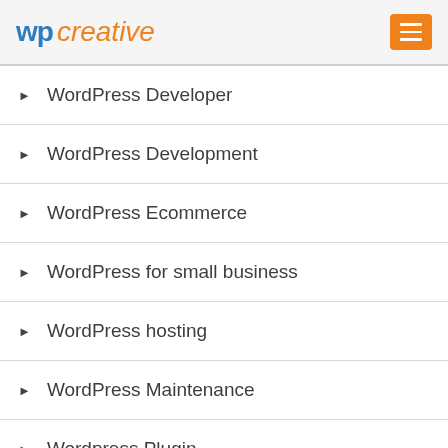wp creative
WordPress Developer
WordPress Development
WordPress Ecommerce
WordPress for small business
WordPress hosting
WordPress Maintenance
Wordpress Plugin